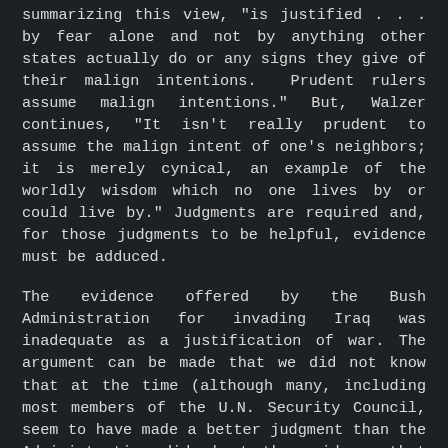summarizing this view, "is justified . . . by fear alone and not by anything other states actually do or any signs they give of their malign intentions. Prudent rulers assume malign intentions." But, Walzer continues, "It isn't really prudent to assume the malign intent of one's neighbors; it is merely cynical, an example of the worldly wisdom which no one lives by or could live by." Judgments are required and, for those judgments to be helpful, evidence must be adduced.
The evidence offered by the Bush Administration for invading Iraq was inadequate as a justification of war. The argument can be made that we did not know that at the time (although many, including most members of the U.N. Security Council, seem to have made a better judgment than the Administration did about the evidence that was available), but the argument is irrelevant. Preventive war is subject to teleological judgments; it breaks the usual rules of international law and morality and can only be justified by the outcome. The Bush Administration knows this and has,